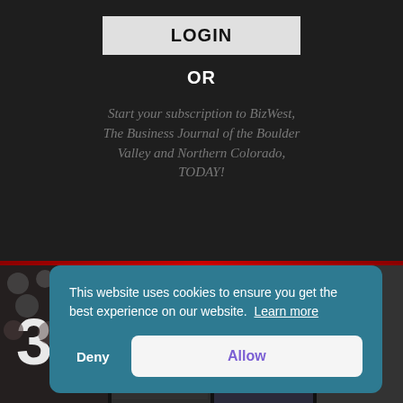LOGIN
OR
Start your subscription to BizWest, The Business Journal of the Boulder Valley and Northern Colorado, TODAY!
This website uses cookies to ensure you get the best experience on our website. Learn more
Deny
Allow
[Figure (screenshot): Magazine cover thumbnails at bottom of page showing '30' text and 'ALL IN' headlines]